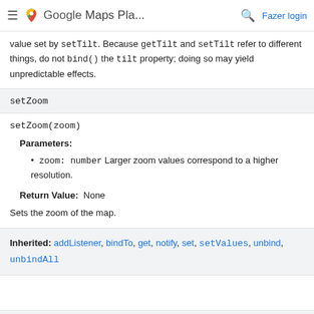Google Maps Pla...
value set by setTilt. Because getTilt and setTilt refer to different things, do not bind() the tilt property; doing so may yield unpredictable effects.
setZoom
setZoom(zoom)
Parameters:
zoom:  number Larger zoom values correspond to a higher resolution.
Return Value:  None
Sets the zoom of the map.
Inherited: addListener, bindTo, get, notify, set, setValues, unbind, unbindAll